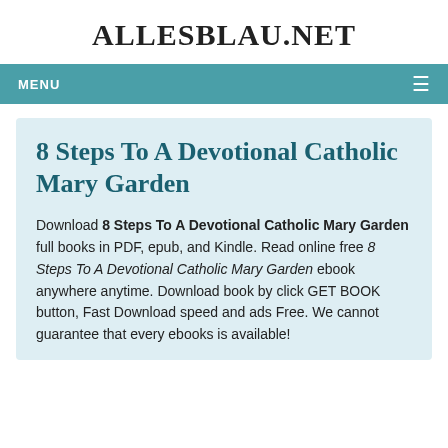ALLESBLAU.NET
MENU
8 Steps To A Devotional Catholic Mary Garden
Download 8 Steps To A Devotional Catholic Mary Garden full books in PDF, epub, and Kindle. Read online free 8 Steps To A Devotional Catholic Mary Garden ebook anywhere anytime. Download book by click GET BOOK button, Fast Download speed and ads Free. We cannot guarantee that every ebooks is available!